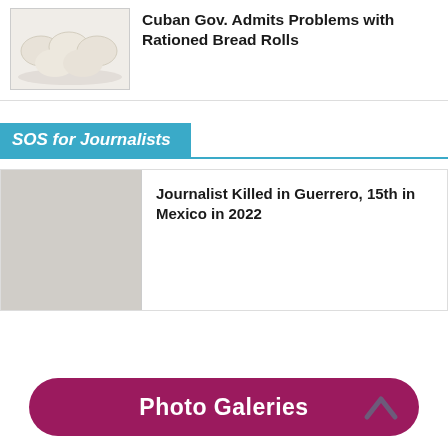[Figure (photo): Photo of white bread rolls on a plate]
Cuban Gov. Admits Problems with Rationed Bread Rolls
SOS for Journalists
[Figure (photo): Placeholder image for journalist article]
Journalist Killed in Guerrero, 15th in Mexico in 2022
Photo Galeries